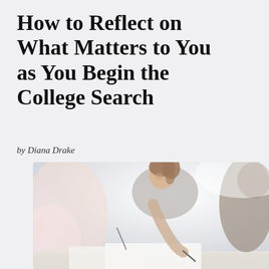How to Reflect on What Matters to You as You Begin the College Search
by Diana Drake
[Figure (photo): A young woman with brown hair pulled back leans over a desk writing with a pen, smiling. Another person is partially visible to the right. The background is bright and blurred.]